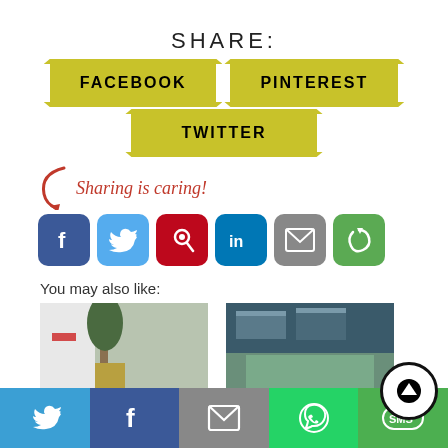SHARE:
FACEBOOK
PINTEREST
TWITTER
Sharing is caring!
[Figure (infographic): Social share buttons: Facebook (blue), Twitter (light blue), Pinterest (red), LinkedIn (blue), Email (gray), Share (green)]
You may also like:
[Figure (photo): Home decor photo with Christmas banner and plant]
[Figure (photo): Bedroom with green bedding and pillows]
[Figure (infographic): Bottom share bar with Twitter, Facebook, Email, WhatsApp, SMS icons and scroll-up button]